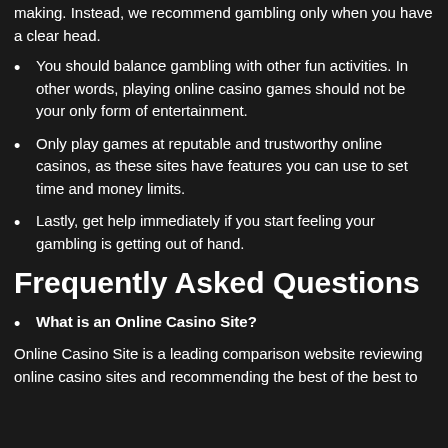making. Instead, we recommend gambling only when you have a clear head.
You should balance gambling with other fun activities. In other words, playing online casino games should not be your only form of entertainment.
Only play games at reputable and trustworthy online casinos, as these sites have features you can use to set time and money limits.
Lastly, get help immediately if you start feeling your gambling is getting out of hand.
Frequently Asked Questions
What is an Online Casino Site?
Online Casino Site is a leading comparison website reviewing online casino sites and recommending the best of the best to